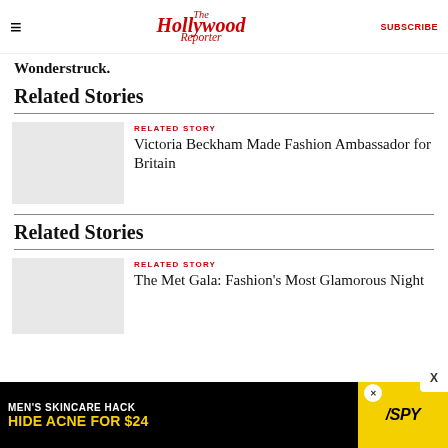The Hollywood Reporter | SUBSCRIBE
Wonderstruck.
Related Stories
RELATED STORY
Victoria Beckham Made Fashion Ambassador for Britain
Related Stories
RELATED STORY
The Met Gala: Fashion's Most Glamorous Night
[Figure (other): Advertisement banner: MEN'S SKINCARE HACK HIDE ACNE FOR $24 with SPY logo]